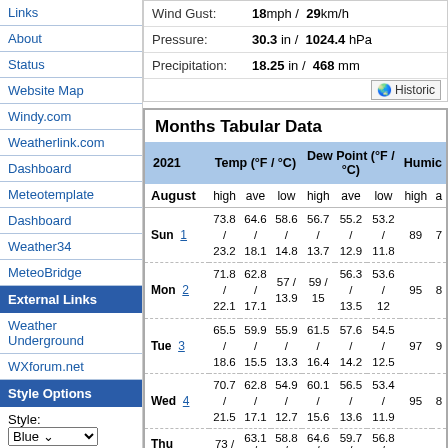Links
About
Status
Website Map
Windy.com
Weatherlink.com
Dashboard
Meteotemplate
Dashboard
Weather34
MeteoBridge
External Links
Weather Underground
WXforum.net
Style Options
Style:
Blue
Widescreen:
On | Off
Set
Wind Gust:    18mph /  29km/h
Pressure:    30.3 in /  1024.4 hPa
Precipitation:    18.25 in /  468 mm
Months Tabular Data
| 2021 | Temp (°F / °C) |  |  | Dew Point (°F / °C) |  |  | Humic |  |  |
| --- | --- | --- | --- | --- | --- | --- | --- | --- | --- |
| August | high | ave | low | high | ave | low | high | a |
| Sun 1 | 73.8 /
23.2 | 64.6 /
18.1 | 58.6 /
14.8 | 56.7 /
13.7 | 55.2 /
12.9 | 53.2 /
11.8 | 89 | 7 |
| Mon 2 | 71.8 /
22.1 | 62.8 /
17.1 | 57 /
13.9 | 59 /
15 | 56.3 /
13.5 | 53.6 /
12 | 95 | 8 |
| Tue 3 | 65.5 /
18.6 | 59.9 /
15.5 | 55.9 /
13.3 | 61.5 /
16.4 | 57.6 /
14.2 | 54.5 /
12.5 | 97 | 9 |
| Wed 4 | 70.7 /
21.5 | 62.8 /
17.1 | 54.9 /
12.7 | 60.1 /
15.6 | 56.5 /
13.6 | 53.4 /
11.9 | 95 | 8 |
| Thu | 73 / | 63.1 / | 58.8 / | 64.6 / | 59.7 / | 56.8 / |  |  |